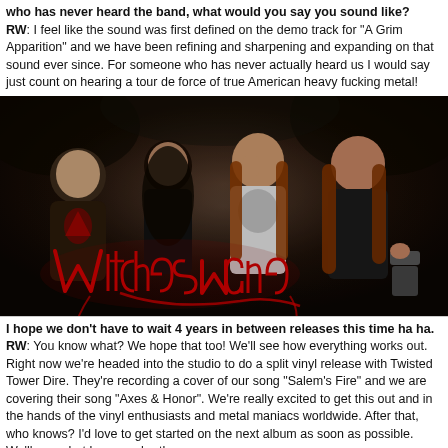who has never heard the band, what would you say you sound like? RW: I feel like the sound was first defined on the demo track for "A Grim Apparition" and we have been refining and sharpening and expanding on that sound ever since. For someone who has never actually heard us I would say just count on hearing a tour de force of true American heavy fucking metal!
[Figure (photo): Band photo of Witches Mane - four metal musicians posing outdoors in dark setting with the band's red gothic logo visible in lower left corner]
I hope we don't have to wait 4 years in between releases this time ha ha. RW: You know what? We hope that too! We'll see how everything works out. Right now we're headed into the studio to do a split vinyl release with Twisted Tower Dire. They're recording a cover of our song "Salem's Fire" and we are covering their song "Axes & Honor". We're really excited to get this out and in the hands of the vinyl enthusiasts and metal maniacs worldwide. After that, who knows? I'd love to get started on the next album as soon as possible. We'll see what happens brother.